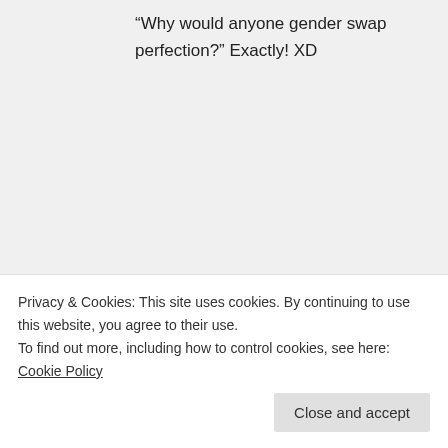“Why would anyone gender swap perfection?” Exactly! XD
★ Liked by 1 person
↳ Reply
proverbs31teen on September 28, 2015 at
Privacy & Cookies: This site uses cookies. By continuing to use this website, you agree to their use.
To find out more, including how to control cookies, see here: Cookie Policy
Close and accept
it’s like… it’s like